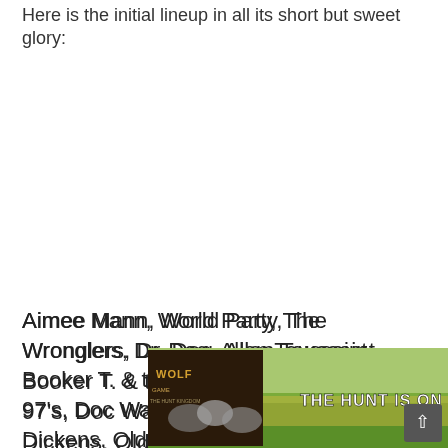Here is the initial lineup in all its short but sweet glory:
Aimee Mann, World Party, The Wronglers, Dr. Dog, Allen Toussaint, Booker T. & the DBTs, Earl Scruggs, Old 97's, Doc Watson, John Prine, Hazel Dickens, Old Crow Medicine Show, Gillian Welch, Steve Martin with the Ste... Feat,
[Figure (screenshot): Advertisement overlay: Wolf game ad showing wolves in a field with text 'THE HUNT IS ON!' and a close button (X) in top right, plus a scroll-to-top button in bottom right corner.]